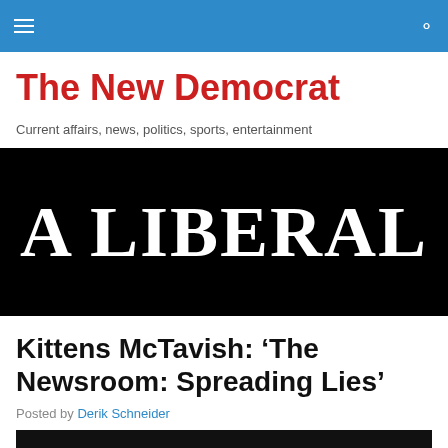The New Democrat
Current affairs, news, politics, sports, entertainment
[Figure (photo): Dark background with large white serif text reading 'A LIBERAL']
Kittens McTavish: ‘The Newsroom: Spreading Lies’
Posted by Derik Schneider
[Figure (photo): Dark/black partial image at bottom of page]